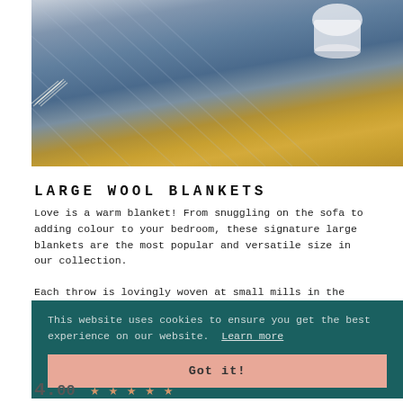[Figure (photo): A blue/navy herringbone wool throw draped over a mustard yellow sofa, with a white mug visible on the arm. Cozy lifestyle product photography.]
LARGE WOOL BLANKETS
Love is a warm blanket! From snuggling on the sofa to adding colour to your bedroom, these signature large blankets are the most popular and versatile size in our collection.
Each throw is lovingly woven at small mills in the British Isles, bringing together traditional techniques with eye-catching designs. Our pure wool blankets are warm, thick and soft to the touch.
This website uses cookies to ensure you get the best experience on our website. Learn more
Got it!
4.00 ★★★★★
Based on 1 review